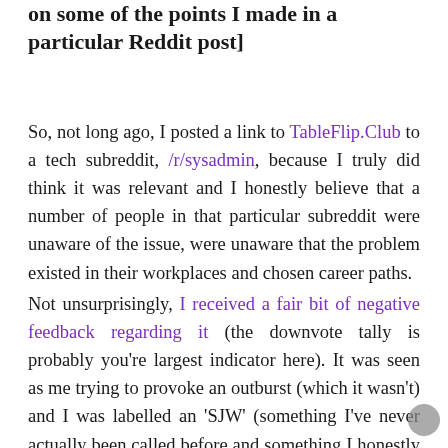on some of the points I made in a particular Reddit post]
So, not long ago, I posted a link to TableFlip.Club to a tech subreddit, /r/sysadmin, because I truly did think it was relevant and I honestly believe that a number of people in that particular subreddit were unaware of the issue, were unaware that the problem existed in their workplaces and chosen career paths.
Not unsurprisingly, I received a fair bit of negative feedback regarding it (the downvote tally is probably you're largest indicator here). It was seen as me trying to provoke an outburst (which it wasn't) and I was labelled an 'SJW' (something I've never actually been called before and something I honestly don't label myself as). The more I read, the more I found it to be